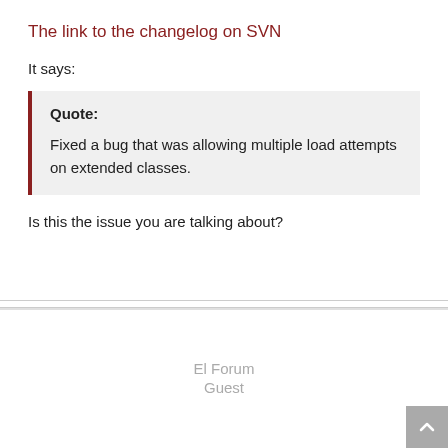The link to the changelog on SVN
It says:
Quote:
Fixed a bug that was allowing multiple load attempts on extended classes.
Is this the issue you are talking about?
El Forum
Guest